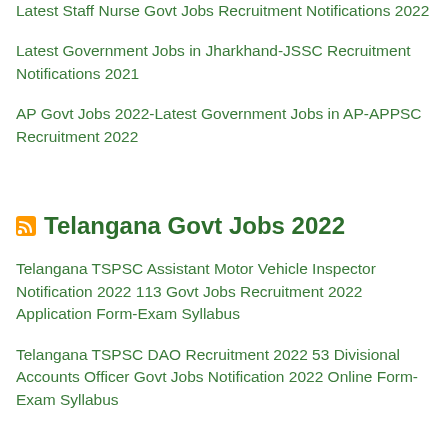Latest Staff Nurse Govt Jobs Recruitment Notifications 2022
Latest Government Jobs in Jharkhand-JSSC Recruitment Notifications 2021
AP Govt Jobs 2022-Latest Government Jobs in AP-APPSC Recruitment 2022
Telangana Govt Jobs 2022
Telangana TSPSC Assistant Motor Vehicle Inspector Notification 2022 113 Govt Jobs Recruitment 2022 Application Form-Exam Syllabus
Telangana TSPSC DAO Recruitment 2022 53 Divisional Accounts Officer Govt Jobs Notification 2022 Online Form-Exam Syllabus